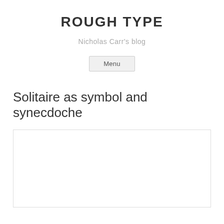ROUGH TYPE
Nicholas Carr's blog
Menu
Solitaire as symbol and synecdoche
[Figure (photo): A white rectangular image placeholder/photo region with a thin border.]